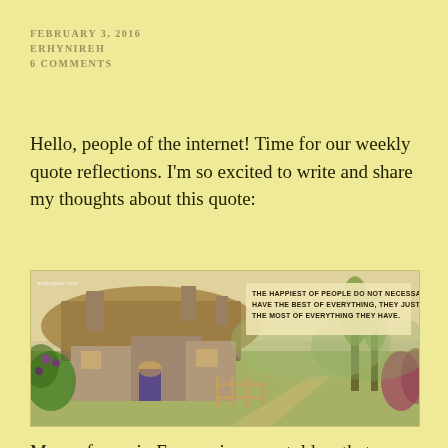FEBRUARY 3, 2016
ERHYNIREH
6 COMMENTS
Hello, people of the internet! Time for our weekly quote reflections. I'm so excited to write and share my thoughts about this quote:
[Figure (photo): A picturesque painting of a stone cottage with thatched roof surrounded by lush garden and flowers. Overlaid text reads: THE HAPPIEST OF PEOPLE DO NOT NECESSARILY HAVE THE BEST OF EVERYTHING, THEY JUST MAKE THE MOST OF EVERYTHING THEY HAVE.]
My professor in Economics once told us that 'human wants is insatiable' and I do agree with him. When a man